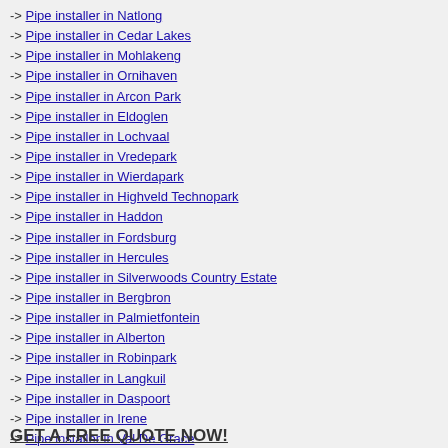-> Pipe installer in Natlong
-> Pipe installer in Cedar Lakes
-> Pipe installer in Mohlakeng
-> Pipe installer in Ornihaven
-> Pipe installer in Arcon Park
-> Pipe installer in Eldoglen
-> Pipe installer in Lochvaal
-> Pipe installer in Vredepark
-> Pipe installer in Wierdapark
-> Pipe installer in Highveld Technopark
-> Pipe installer in Haddon
-> Pipe installer in Fordsburg
-> Pipe installer in Hercules
-> Pipe installer in Silverwoods Country Estate
-> Pipe installer in Bergbron
-> Pipe installer in Palmietfontein
-> Pipe installer in Alberton
-> Pipe installer in Robinpark
-> Pipe installer in Langkuil
-> Pipe installer in Daspoort
-> Pipe installer in Irene
-> Pipe installer in Val De Grace
GET A FREE QUOTE NOW!